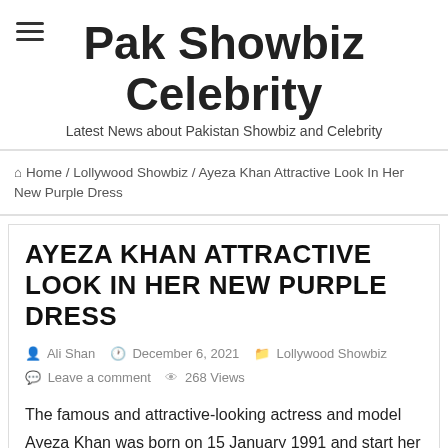Pak Showbiz Celebrity
Latest News about Pakistan Showbiz and Celebrity
Home / Lollywood Showbiz / Ayeza Khan Attractive Look In Her New Purple Dress
AYEZA KHAN ATTRACTIVE LOOK IN HER NEW PURPLE DRESS
Ali Shan   December 6, 2021   Lollywood Showbiz   Leave a comment   268 Views
The famous and attractive-looking actress and model Ayeza Khan was born on 15 January 1991 and start her career in 2009 when she was 19 years old and got married in 2014 and now she become the mother of two beautiful children and love them so much.